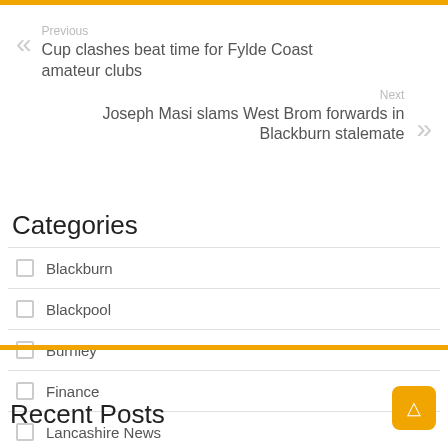Previous
Cup clashes beat time for Fylde Coast amateur clubs
Next
Joseph Masi slams West Brom forwards in Blackburn stalemate
Categories
Blackburn
Blackpool
Burnley
Finance
Lancashire News
Recent Posts